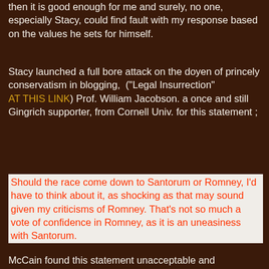then it is good enough for me and surely, no one, especially Stacy, could find fault with my response based on the values he sets for himself.
Stacy launched a full bore attack on the doyen of princely conservatism in blogging, ("Legal Insurrection" AT THIS LINK) Prof. William Jacobson. a once and still Gingrich supporter, from Cornell Univ. for this statement ;
Should the race come down to Santorum or Romney, I’d have to think about it, as shocking as that may sound given my criticisms of Romney. That’s not so much a vote of confidence in Romney, as it is an uneasiness with Santorum.
McCain found this statement unacceptable and